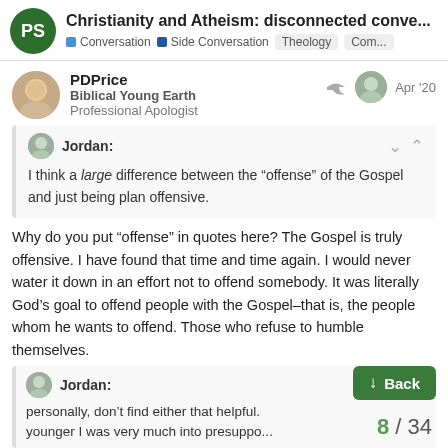Christianity and Atheism: disconnected conve... | Conversation | Side Conversation | Theology | Com...
PDPrice
Biblical Young Earth
Professional Apologist
Apr '20
Jordan:
I think a large difference between the “offense” of the Gospel and just being plan offensive.
Why do you put “offense” in quotes here? The Gospel is truly offensive. I have found that time and time again. I would never water it down in an effort not to offend somebody. It was literally God’s goal to offend people with the Gospel–that is, the people whom he wants to offend. Those who refuse to humble themselves.
Jordan:
personally, don’t find either that helpful.
younger I was very much into presuppo...